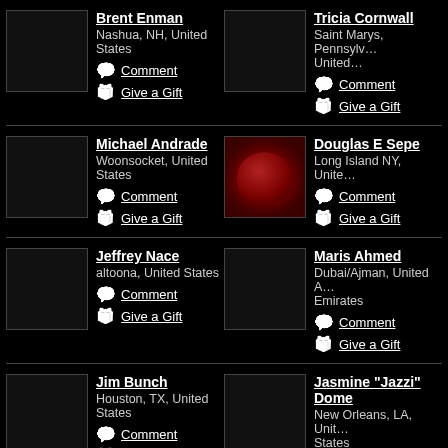Brent Enman
Nashua, NH, United States
Comment
Give a Gift
Tricia Cornwall
Saint Marys, Pennsylvania, United…
Comment
Give a Gift
Michael Andrade
Woonsocket, United States
Comment
Give a Gift
Douglas E Sepe
Long Island NY, United…
Comment
Give a Gift
Jeffrey Nace
altoona, United States
Comment
Give a Gift
Maris Ahmed
Dubai/Ajman, United Arab Emirates
Comment
Give a Gift
Jim Bunch
Houston, TX, United States
Comment
Give a Gift
Jasmine "Jazzi" Dome
New Orleans, LA, United States
Comment
Give a Gift